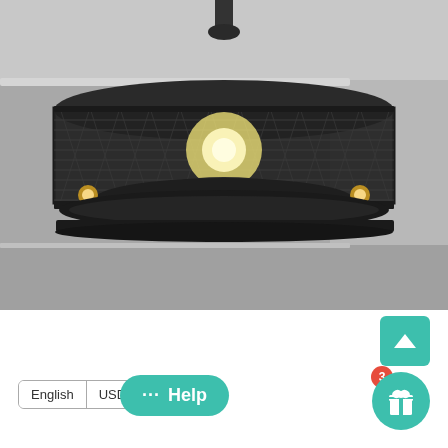[Figure (photo): Industrial/farmhouse style caged ceiling fan with mesh drum shade, multiple bulbs visible, black metal finish, mounted to ceiling. Photo taken from below/angle showing the fan blades hidden inside the cage.]
Depuley Farmhouse Caged Ceiling Fan with Light, 3 Speeds Adjustable, Ceiling Fan Lights with Remote, Industrial Ceiling Fans(4-Blade, E26
From $249.95 –
$149.99